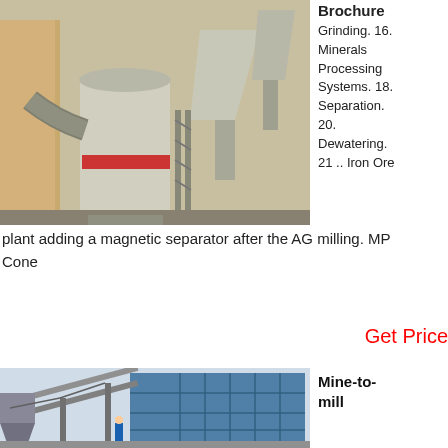[Figure (photo): Industrial grinding mill facility with large cylindrical equipment, hoppers, and dust collection units in an outdoor industrial setting]
Brochure Grinding. 16. Minerals Processing Systems. 18. Separation. 20. Dewatering. 21 .. Iron Ore
plant adding a magnetic separator after the AG milling. MP Cone
Get Price
[Figure (photo): Industrial mine-to-mill facility with steel framework, conveyor systems, and large blue warehouse or processing building]
Mine-to-mill